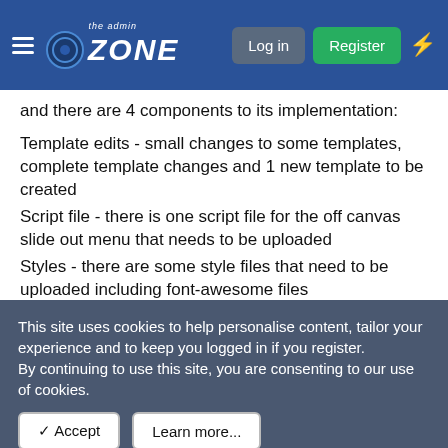the ADMIN ZONE | Log in | Register
and there are 4 components to its implementation:
Template edits - small changes to some templates, complete template changes and 1 new template to be created
Script file - there is one script file for the off canvas slide out menu that needs to be uploaded
Styles - there are some style files that need to be uploaded including font-awesome files
User Option - a new user option needs to be created to allow users to select where they want the menu bar, either left or right of the screen
This site uses cookies to help personalise content, tailor your experience and to keep you logged in if you register.
By continuing to use this site, you are consenting to our use of cookies.